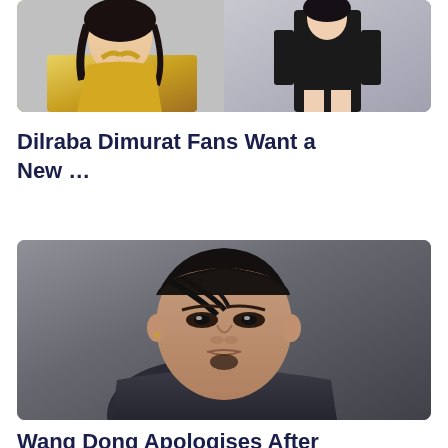[Figure (photo): Two photos side by side: left shows a woman in a yellow satin halter top with dark hair; right shows a woman in a black long-sleeve mini dress against a light gray background.]
Dilraba Dimurat Fans Want a New …
[Figure (photo): Close-up portrait of an Asian man with short dark hair styled forward, a goatee, wearing a dark outfit, against a gray background.]
Wang Dong Apologises After